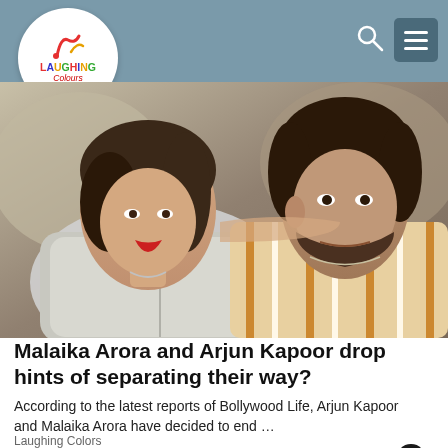Laughing Colours
[Figure (photo): Malaika Arora and Arjun Kapoor posing together in a close selfie; woman in silver outfit, man in striped shirt]
Malaika Arora and Arjun Kapoor drop hints of separating their way?
According to the latest reports of Bollywood Life, Arjun Kapoor and Malaika Arora have decided to end …
Laughing Colors
[Figure (screenshot): Advertisement banner showing 'Sign up today!' with Mammamia logo]
ADVERTISEMENT